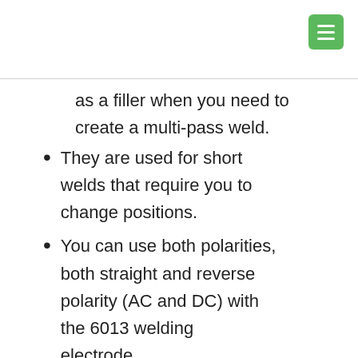as a filler when you need to create a multi-pass weld.
They are used for short welds that require you to change positions.
You can use both polarities, both straight and reverse polarity (AC and DC) with the 6013 welding electrode.